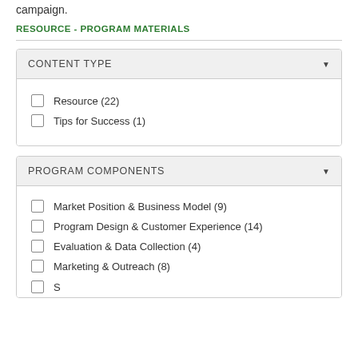campaign.
RESOURCE - PROGRAM MATERIALS
CONTENT TYPE (dropdown)
☐ Resource (22)
☐ Tips for Success (1)
PROGRAM COMPONENTS (dropdown)
☐ Market Position & Business Model (9)
☐ Program Design & Customer Experience (14)
☐ Evaluation & Data Collection (4)
☐ Marketing & Outreach (8)
☐ (partially visible item)